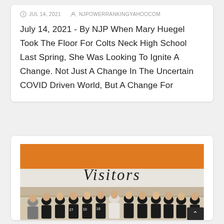JUL 14, 2021   NJPOWERRANKINGYAHOOCOM
July 14, 2021 - By NJP When Mary Huegel Took The Floor For Colts Neck High School Last Spring, She Was Looking To Ignite A Change. Not Just A Change In The Uncertain COVID Driven World, But A Change For
[Figure (photo): Team photo of Colts Neck High School girls volleyball team celebrating in a gymnasium, wearing black uniforms, with a 'Visitors' sign on an orange and white wall in the background.]